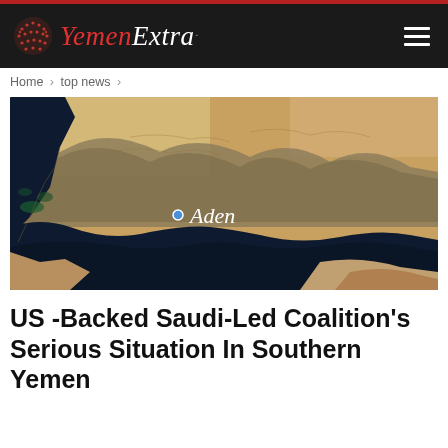Yemen Extra
Home > top news >
[Figure (map): Satellite map showing the Gulf of Aden region with label 'Aden' marked with a blue dot, showing the coastlines of Yemen and surrounding area with desert terrain]
US -Backed Saudi-Led Coalition's Serious Situation In Southern Yemen